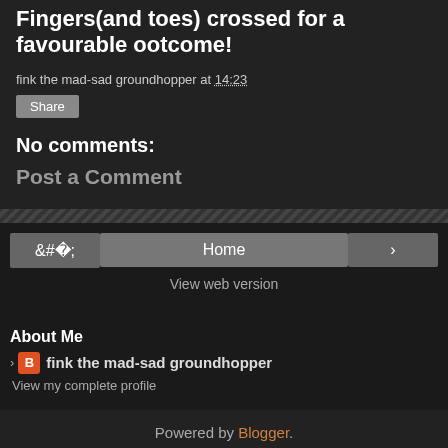Fingers(and toes) crossed for a favourable ootcome!
fink the mad-sad groundhopper at 14:23
Share
No comments:
Post a Comment
Home
View web version
About Me
fink the mad-sad groundhopper
View my complete profile
Powered by Blogger.